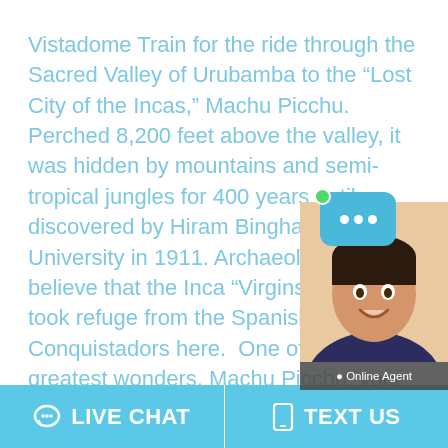Vistadome Train for the ride through the Sacred Valley of Urubamba to the “Lost City of the Incas,” Machu Picchu. Perched 8,200 feet above the valley, it was hidden by mountains and semi-tropical jungles for 400 years until discovered by Hiram Bingham of Yale University in 1911. Archaeologists believe that the Inca “Virgins of the Sun” took refuge from the Spanish Conquistadors here.  One of the world’s greatest wonders, Machu Picchu, your adventure starts in the city of Aguas Calientes, where you leave the train, walk through a maze of markets in the heart of town and then board a bus that drives you to the Machu Picchu site… an experience you will never forget. Your tour covers every nook and cranny of this UNESCO World Cultural Heritage site. Afterwards, there is some free time for you to explore the shops.
[Figure (photo): Chat widget overlay with a smiling female agent photo, a teal speech bubble icon with dots, a green online indicator dot, and an 'Online Agent' label.]
LIVE CHAT   TEXT US